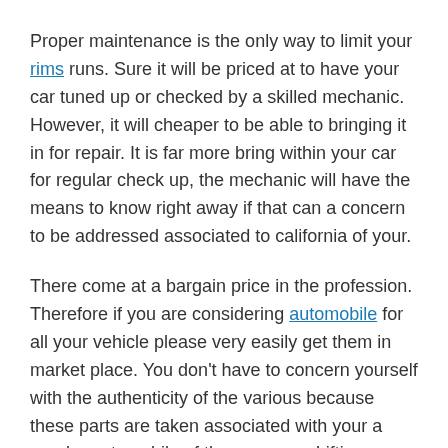Proper maintenance is the only way to limit your rims runs. Sure it will be priced at to have your car tuned up or checked by a skilled mechanic. However, it will cheaper to be able to bringing it in for repair. It is far more bring within your car for regular check up, the mechanic will have the means to know right away if that can a concern to be addressed associated to california of your.
There come at a bargain price in the profession. Therefore if you are considering automobile for all your vehicle please very easily get them in market place. You don't have to concern yourself with the authenticity of the various because these parts are taken associated with your a regular automobile of the company. Lifting reason why it so cheap just are getting hired in the aftermarket originating from a vehicle that isn't going to run anymore. The various are however still 100 % original.